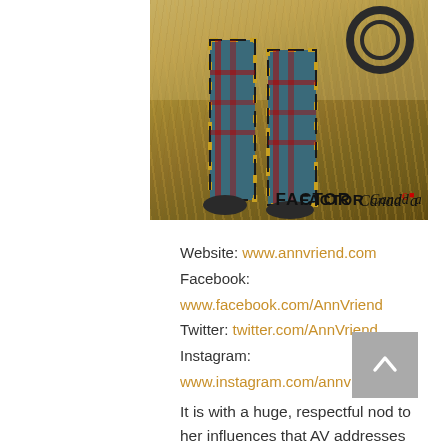[Figure (photo): A person wearing plaid/tartan pants walking through a dry grass field, bottom portion of photo. FACTOR and Canada logos visible at bottom right of image.]
Website: www.annvriend.com
Facebook:
www.facebook.com/AnnVriend
Twitter: twitter.com/AnnVriend
Instagram:
www.instagram.com/annvriend
It is with a huge, respectful nod to her influences that AV addresses the social issues that face her and her community